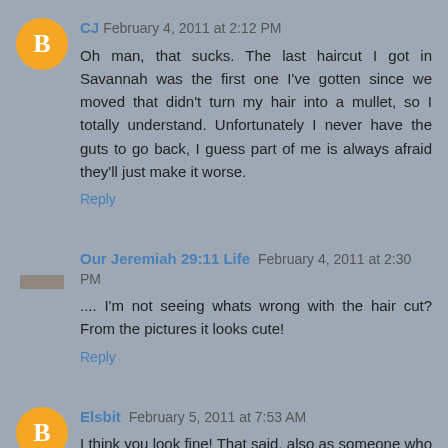CJ   February 4, 2011 at 2:12 PM
Oh man, that sucks. The last haircut I got in Savannah was the first one I've gotten since we moved that didn't turn my hair into a mullet, so I totally understand. Unfortunately I never have the guts to go back, I guess part of me is always afraid they'll just make it worse.
Reply
Our Jeremiah 29:11 Life   February 4, 2011 at 2:30 PM
.... I'm not seeing whats wrong with the hair cut? From the pictures it looks cute!
Reply
Elsbit   February 5, 2011 at 7:53 AM
I think you look fine! That said, also as someone who deals with curly hair, it is the matter of finding someone who actually knows how to cut curly hair. I need to go get a trim but always nervous it off because I can't find the